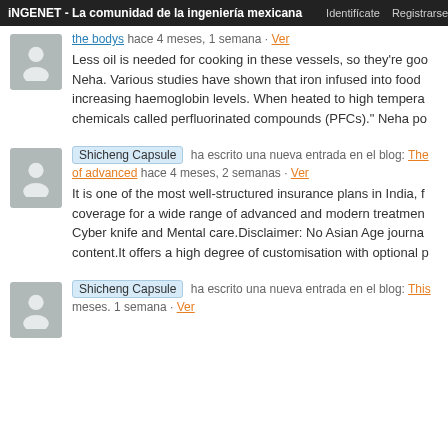iNGENET - La comunidad de la ingeniería mexicana   Identifícate   Registrarse
the bodys  hace 4 meses, 1 semana · Ver
Less oil is needed for cooking in these vessels, so they're good for Neha. Various studies have shown that iron infused into food increasing haemoglobin levels. When heated to high temperatures chemicals called perfluorinated compounds (PFCs)." Neha po
Shicheng Capsule  ha escrito una nueva entrada en el blog: The of advanced  hace 4 meses, 2 semanas · Ver
It is one of the most well-structured insurance plans in India, f coverage for a wide range of advanced and modern treatment Cyber knife and Mental care.Disclaimer: No Asian Age journa content.It offers a high degree of customisation with optional p
Shicheng Capsule  ha escrito una nueva entrada en el blog: This meses. 1 semana · Ver